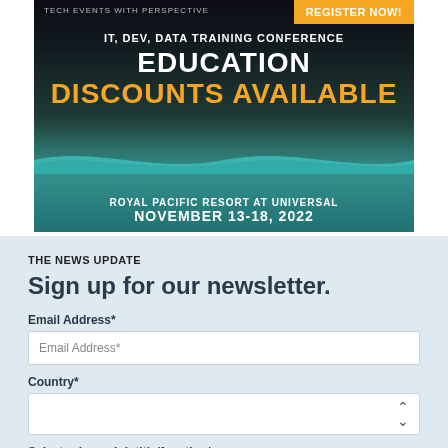[Figure (illustration): Conference advertisement banner for IT, Dev, Data Training Conference. Shows 'TECH EVENTS WITH PERSPECTIVE' logo text, orange 'REGISTER NOW!' button, conference image background, text 'IT, DEV, DATA TRAINING CONFERENCE', 'EDUCATION DISCOUNTS AVAILABLE' in white and orange, 'ROYAL PACIFIC RESORT AT UNIVERSAL', 'NOVEMBER 13-18, 2022']
THE NEWS UPDATE
Sign up for our newsletter.
Email Address*
Country*
Select primary job title/function*